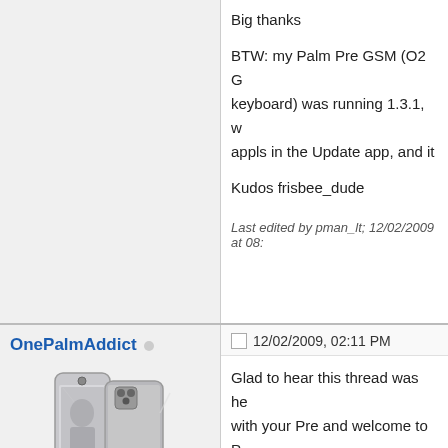Big thanks
BTW: my Palm Pre GSM (O2 G... keyboard) was running 1.3.1, w... appls in the Update app, and it...
Kudos frisbee_dude
Last edited by pman_lt; 12/02/2009 at 08:...
OnePalmAddict
12/02/2009, 02:11 PM
[Figure (photo): Two Samsung smartphone devices shown from the front and back]
408 Posts
547 Global Posts
Glad to hear this thread was he... with your Pre and welcome to P...
Mark A. Einersen
HTC Evo 4G w/Seidio Innocase Active... Pre < Palm Pixi (wife) < Palm Treo 755...